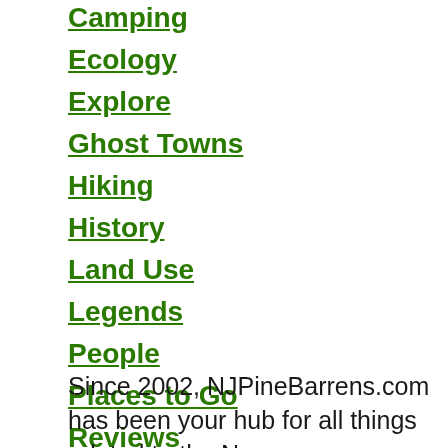Camping
Ecology
Explore
Ghost Towns
Hiking
History
Land Use
Legends
People
Places to Go
Reviews
Since 2002, NJPineBarrens.com has been your hub for all things related to the New